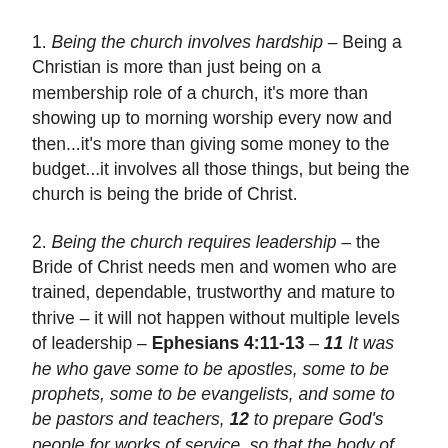1. Being the church involves hardship – Being a Christian is more than just being on a membership role of a church, it's more than showing up to morning worship every now and then...it's more than giving some money to the budget...it involves all those things, but being the church is being the bride of Christ.
2. Being the church requires leadership – the Bride of Christ needs men and women who are trained, dependable, trustworthy and mature to thrive – it will not happen without multiple levels of leadership – Ephesians 4:11-13 – 11 It was he who gave some to be apostles, some to be prophets, some to be evangelists, and some to be pastors and teachers, 12 to prepare God's people for works of service, so that the body of Christ may be built